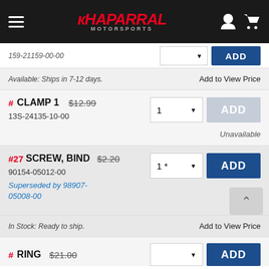Chaparral Motorsports
159-21159-00-00
Available: Ships in 7-12 days.
Add to View Price
# CLAMP 1   $12.99   13S-24135-10-00
Unavailable
#27 SCREW, BIND   $2.20   90154-05012-00
Superseded by 98907-05008-00
In Stock: Ready to ship.
Add to View Price